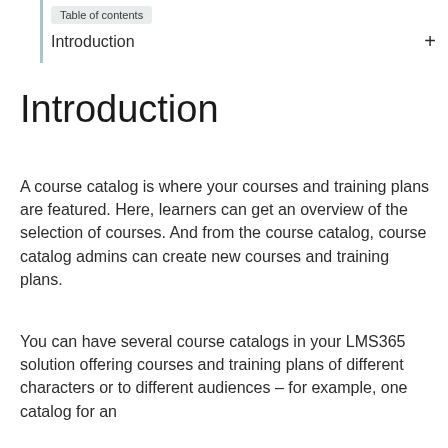Table of contents
Introduction
Introduction
A course catalog is where your courses and training plans are featured. Here, learners can get an overview of the selection of courses. And from the course catalog, course catalog admins can create new courses and training plans.
You can have several course catalogs in your LMS365 solution offering courses and training plans of different characters or to different audiences – for example, one catalog for an